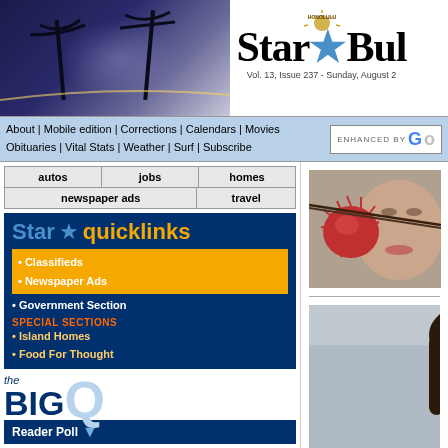[Figure (screenshot): Honolulu Star-Bulletin newspaper website header with masthead logo, palm tree night photo background, navigation bar with links]
Vol. 13, Issue 237 - Sunday, August 2
About | Mobile edition | Corrections | Calendars | Movies
Obituaries | Vital Stats | Weather | Surf | Subscribe
ENHANCED BY Google
autos
jobs
homes
newspaper ads
travel
Star quicklinks
• Classifieds
• Newspaper Ads
• Government Section
SPECIAL SECTIONS
• Island Homes
• Food For Thought
the BIG Q Reader Poll
Who should be the starting quarterback for the UH football
[Figure (photo): Close-up photo of a rambutan fruit being held by chopsticks near a person's face]
Weekly E
Nadine Ka
[Figure (photo): Photo of a smiling Asian woman in a laboratory or office setting]